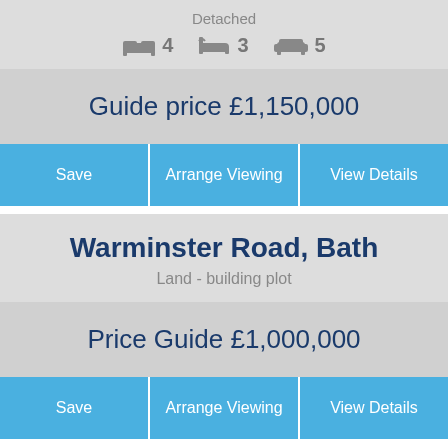Detached
4  3  5
Guide price £1,150,000
Save
Arrange Viewing
View Details
Warminster Road, Bath
Land - building plot
Price Guide £1,000,000
Save
Arrange Viewing
View Details